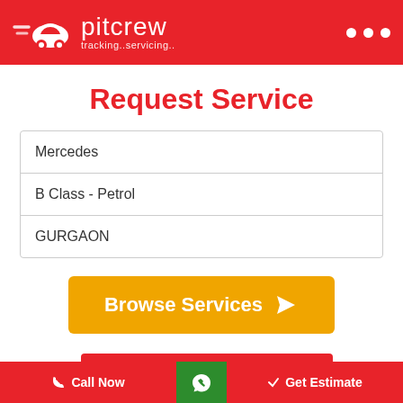[Figure (logo): Pitcrew logo with car icon, brand name 'pitcrew' and tagline 'tracking..servicing..' on red header background]
Request Service
Mercedes
B Class - Petrol
GURGAON
Browse Services
Call us on +91 906 900 6420
Call Now | WhatsApp | Get Estimate